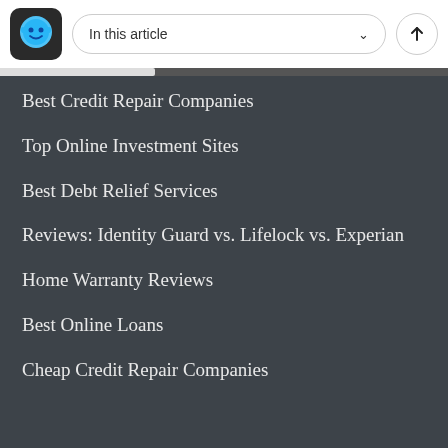In this article
Best Credit Repair Companies
Top Online Investment Sites
Best Debt Relief Services
Reviews: Identity Guard vs. Lifelock vs. Experian
Home Warranty Reviews
Best Online Loans
Cheap Credit Repair Companies